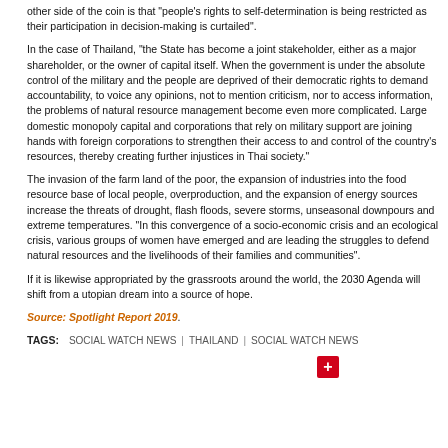other side of the coin is that "people's rights to self-determination is being restricted as their participation in decision-making is curtailed".
In the case of Thailand, "the State has become a joint stakeholder, either as a major shareholder, or the owner of capital itself. When the government is under the absolute control of the military and the people are deprived of their democratic rights to demand accountability, to voice any opinions, not to mention criticism, nor to access information, the problems of natural resource management become even more complicated. Large domestic monopoly capital and corporations that rely on military support are joining hands with foreign corporations to strengthen their access to and control of the country's resources, thereby creating further injustices in Thai society."
The invasion of the farm land of the poor, the expansion of industries into the food resource base of local people, overproduction, and the expansion of energy sources increase the threats of drought, flash floods, severe storms, unseasonal downpours and extreme temperatures. "In this convergence of a socio-economic crisis and an ecological crisis, various groups of women have emerged and are leading the struggles to defend natural resources and the livelihoods of their families and communities".
If it is likewise appropriated by the grassroots around the world, the 2030 Agenda will shift from a utopian dream into a source of hope.
Source: Spotlight Report 2019.
TAGS:   SOCIAL WATCH NEWS  |  THAILAND  |  SOCIAL WATCH NEWS